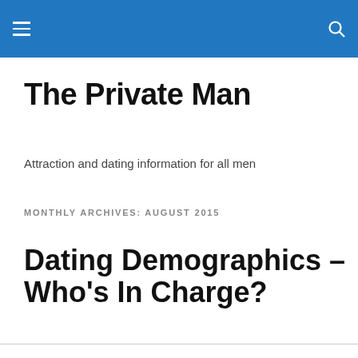The Private Man — site header navigation bar
The Private Man
Attraction and dating information for all men
MONTHLY ARCHIVES: AUGUST 2015
Dating Demographics – Who's In Charge?
Privacy & Cookies: This site uses cookies. By continuing to use this website, you agree to their use.
To find out more, including how to control cookies, see here: Cookie Policy
Close and accept